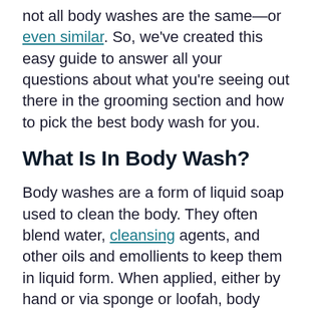not all body washes are the same—or even similar. So, we've created this easy guide to answer all your questions about what you're seeing out there in the grooming section and how to pick the best body wash for you.
What Is In Body Wash?
Body washes are a form of liquid soap used to clean the body. They often blend water, cleansing agents, and other oils and emollients to keep them in liquid form. When applied, either by hand or via sponge or loofah, body washes typically foam or lather while they clean.